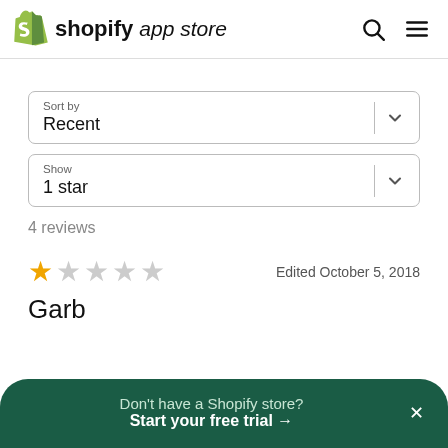shopify app store
Sort by
Recent
Show
1 star
4 reviews
Edited October 5, 2018
Garb
Don't have a Shopify store? Start your free trial →